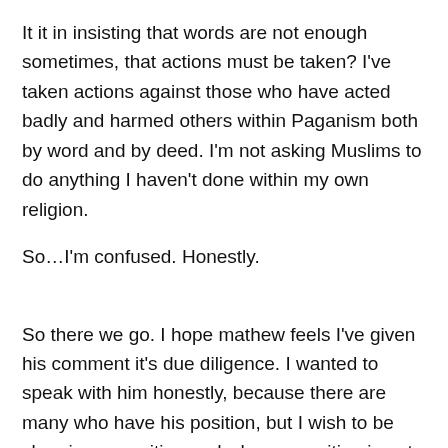It it in insisting that words are not enough sometimes, that actions must be taken? I've taken actions against those who have acted badly and harmed others within Paganism both by word and by deed. I'm not asking Muslims to do anything I haven't done within my own religion.
So…I'm confused. Honestly.
So there we go. I hope mathew feels I've given his comment it's due diligence. I wanted to speak with him honestly, because there are many who have his position, but I wish to be clear in my position and why my position is not in fact rubbish.
I'm going to say one last thing though. Since the attacks in Paris, I've repeatedly checked the Islam tag here on